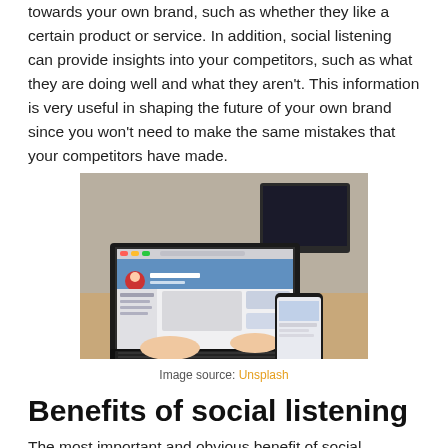towards your own brand, such as whether they like a certain product or service. In addition, social listening can provide insights into your competitors, such as what they are doing well and what they aren't. This information is very useful in shaping the future of your own brand since you won't need to make the same mistakes that your competitors have made.
[Figure (photo): Person using a laptop showing a social media profile page while holding a smartphone, sitting at a wooden desk]
Image source: Unsplash
Benefits of social listening
The most important and obvious benefit of social listening is that